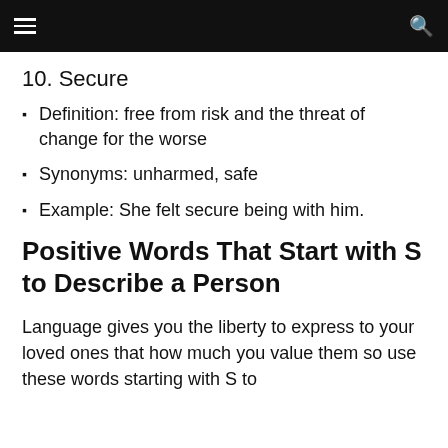10. Secure
Definition: free from risk and the threat of change for the worse
Synonyms: unharmed, safe
Example: She felt secure being with him.
Positive Words That Start with S to Describe a Person
Language gives you the liberty to express to your loved ones that how much you value them so use these words starting with S to